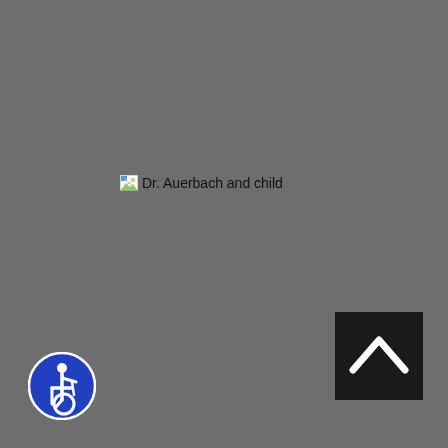[Figure (photo): Broken image placeholder showing alt text 'Dr. Auerbach and child' with a small broken image icon in the upper left area of a gray background page]
[Figure (other): Dark square button with a white upward-pointing chevron/caret arrow in the lower right area, used as a scroll-to-top button]
[Figure (other): Blue circular accessibility icon (wheelchair symbol) in the lower left corner of the page]